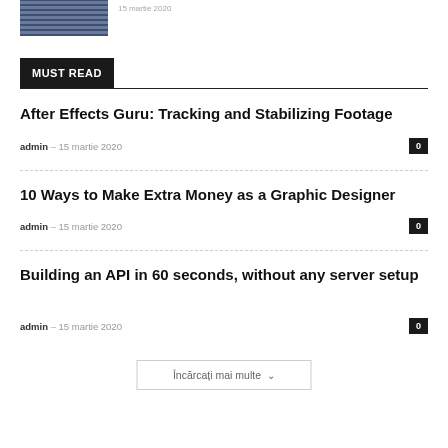[Figure (photo): Small thumbnail image of a dark blue/tech themed photo]
15 martie 2020
MUST READ
After Effects Guru: Tracking and Stabilizing Footage
admin – 15 martie 2020  0
10 Ways to Make Extra Money as a Graphic Designer
admin – 15 martie 2020  0
Building an API in 60 seconds, without any server setup
admin – 15 martie 2020  0
Încărcați mai multe